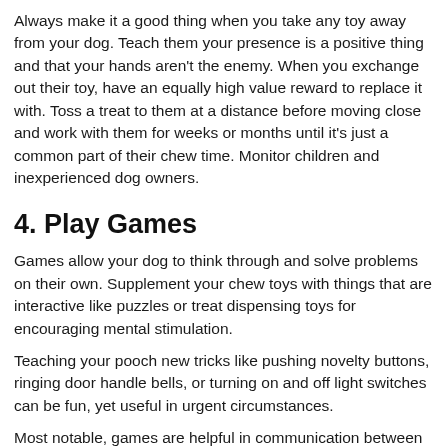Always make it a good thing when you take any toy away from your dog. Teach them your presence is a positive thing and that your hands aren't the enemy. When you exchange out their toy, have an equally high value reward to replace it with. Toss a treat to them at a distance before moving close and work with them for weeks or months until it's just a common part of their chew time. Monitor children and inexperienced dog owners.
4. Play Games
Games allow your dog to think through and solve problems on their own. Supplement your chew toys with things that are interactive like puzzles or treat dispensing toys for encouraging mental stimulation.
Teaching your pooch new tricks like pushing novelty buttons, ringing door handle bells, or turning on and off light switches can be fun, yet useful in urgent circumstances.
Most notable, games are helpful in communication between you